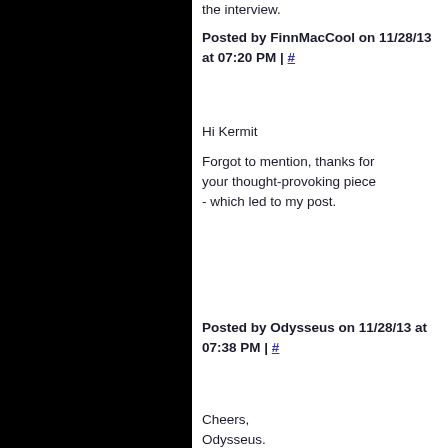the interview.
Posted by FinnMacCool on 11/28/13 at 07:20 PM | #
Hi Kermit
Forgot to mention, thanks for your thought-provoking piece - which led to my post.
Posted by Odysseus on 11/28/13 at 07:38 PM | #
Cheers, Odysseus. Finn - indeed the